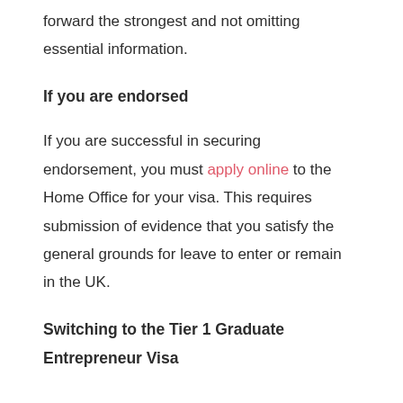forward the strongest and not omitting essential information.
If you are endorsed
If you are successful in securing endorsement, you must apply online to the Home Office for your visa. This requires submission of evidence that you satisfy the general grounds for leave to enter or remain in the UK.
Switching to the Tier 1 Graduate Entrepreneur Visa